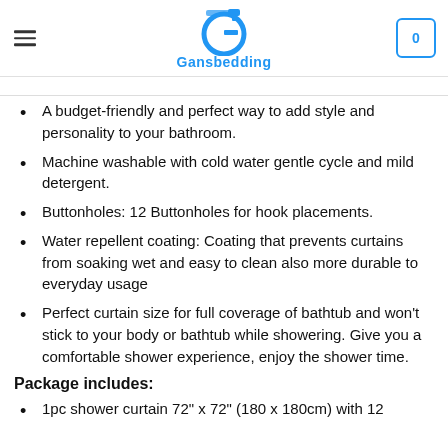Gansbedding
A budget-friendly and perfect way to add style and personality to your bathroom.
Machine washable with cold water gentle cycle and mild detergent.
Buttonholes: 12 Buttonholes for hook placements.
Water repellent coating: Coating that prevents curtains from soaking wet and easy to clean also more durable to everyday usage
Perfect curtain size for full coverage of bathtub and won't stick to your body or bathtub while showering. Give you a comfortable shower experience, enjoy the shower time.
Package includes:
1pc shower curtain 72" x 72" (180 x 180cm) with 12 hooks